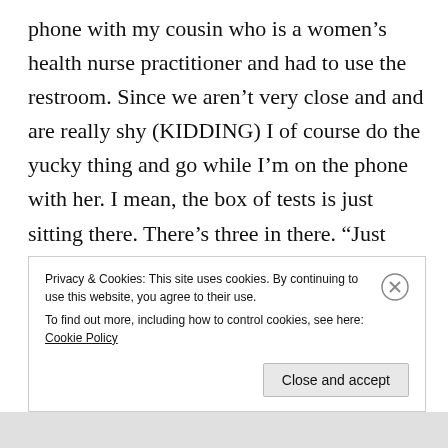phone with my cousin who is a women's health nurse practitioner and had to use the restroom. Since we aren't very close and and are really shy (KIDDING) I of course do the yucky thing and go while I'm on the phone with her. I mean, the box of tests is just sitting there. There's three in there. “Just PEE on me already”, it was screaming. So not expecting much, I pee on it as it demands. As soon as it started reading across the screen, one line.. two lines! Cue the
Privacy & Cookies: This site uses cookies. By continuing to use this website, you agree to their use.
To find out more, including how to control cookies, see here: Cookie Policy
Close and accept